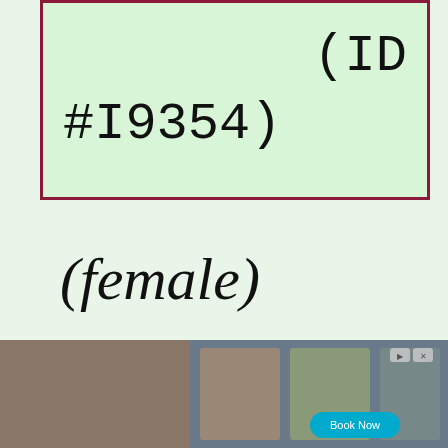(ID #I9354)
(female)
BAPTISM: 22